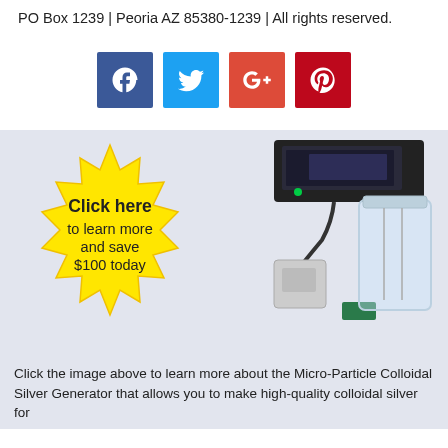PO Box 1239 | Peoria AZ 85380-1239 | All rights reserved.
[Figure (infographic): Social media share buttons: Facebook (blue), Twitter (light blue), Google+ (red-orange), Pinterest (dark red)]
[Figure (photo): Product image of Micro-Particle Colloidal Silver Generator with a yellow starburst badge reading: Click here to learn more and save $100 today. The device shows a black box unit on top of a glass jar with accessories.]
Click the image above to learn more about the Micro-Particle Colloidal Silver Generator that allows you to make high-quality colloidal silver for